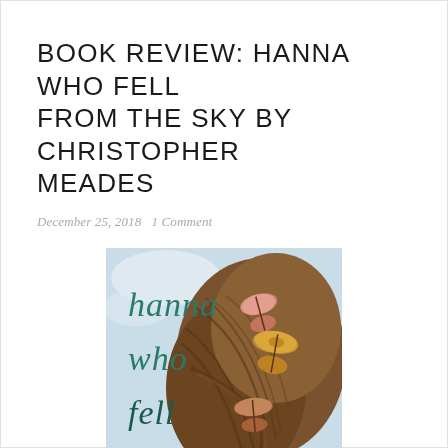BOOK REVIEW: HANNA WHO FELL FROM THE SKY BY CHRISTOPHER MEADES
December 25, 2018   1 Comment
[Figure (illustration): Book cover of 'Hanna Who Fell' showing a woman's braided hair with moths/butterflies resting on it, against a light blue sky background. The title text reads 'hanna who fell' in teal/dark teal font.]